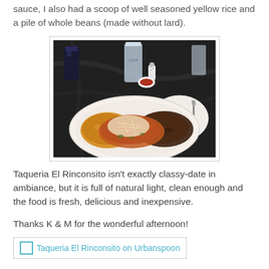sauce, I also had a scoop of well seasoned yellow rice and a pile of whole beans (made without lard).
[Figure (photo): Photo of a plate of Mexican food at Taqueria El Rinconsito — enchiladas topped with cheese, tomatoes, and sauce, served with yellow rice and whole beans on a white oval plate, with a side plate of carrots and a garnish, on a dark marble table with Coca-Cola glasses in the background.]
Taqueria El Rinconsito isn't exactly classy-date in ambiance, but it is full of natural light, clean enough and the food is fresh, delicious and inexpensive.
Thanks K & M for the wonderful afternoon!
[Figure (other): Urbanspoon link badge for Taqueria El Rinconsito on Urbanspoon]